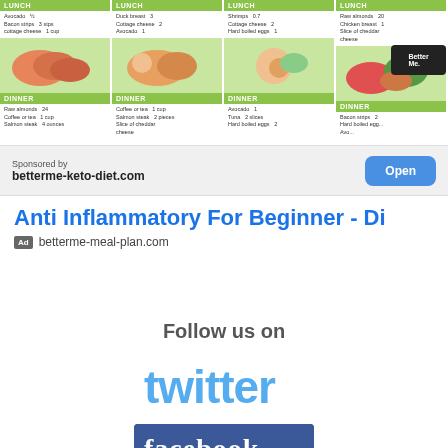[Figure (screenshot): BetterMe keto diet app advertisement showing a meal plan grid with LUNCH and DINNER sections across 4 columns, food images, and a BetterMe badge.]
Sponsored by
betterme-keto-diet.com
Open
Anti Inflammatory For Beginner - Di
Ad  betterme-meal-plan.com
Follow us on
[Figure (logo): Twitter logo in light blue cursive style]
[Figure (logo): Facebook logo — blue background with white 'facebook' text]